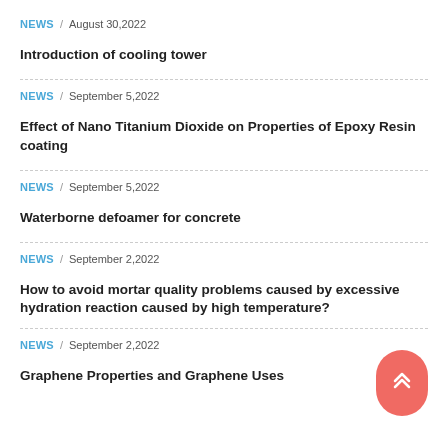NEWS / August 30,2022
Introduction of cooling tower
NEWS / September 5,2022
Effect of Nano Titanium Dioxide on Properties of Epoxy Resin coating
NEWS / September 5,2022
Waterborne defoamer for concrete
NEWS / September 2,2022
How to avoid mortar quality problems caused by excessive hydration reaction caused by high temperature?
NEWS / September 2,2022
Graphene Properties and Graphene Uses